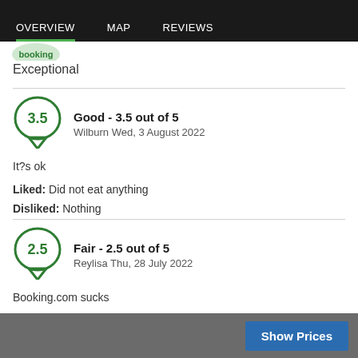OVERVIEW  MAP  REVIEWS
Exceptional
Good - 3.5 out of 5
Wilburn Wed, 3 August 2022
It?s ok
Liked: Did not eat anything
Disliked: Nothing
Fair - 2.5 out of 5
Reylisa Thu, 28 July 2022
Booking.com sucks
Liked: te staff
Show Prices